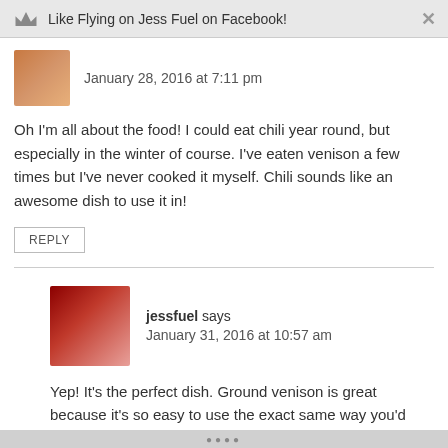Like Flying on Jess Fuel on Facebook!
January 28, 2016 at 7:11 pm
Oh I'm all about the food! I could eat chili year round, but especially in the winter of course. I've eaten venison a few times but I've never cooked it myself. Chili sounds like an awesome dish to use it in!
REPLY
jessfuel says
January 31, 2016 at 10:57 am
Yep! It's the perfect dish. Ground venison is great because it's so easy to use the exact same way you'd use ground beef. 🙂